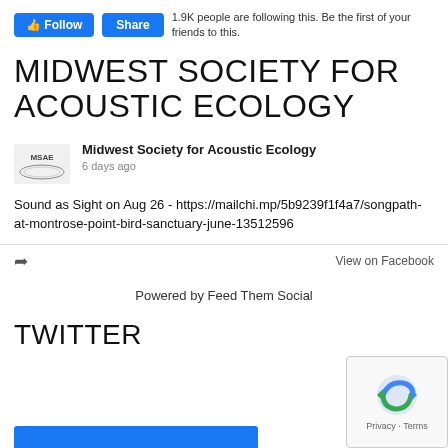[Figure (screenshot): Facebook Follow and Share buttons with follower count text]
MIDWEST SOCIETY FOR ACOUSTIC ECOLOGY
Midwest Society for Acoustic Ecology
6 days ago
Sound as Sight on Aug 26 - https://mailchi.mp/5b9239f1f4a7/songpath-at-montrose-point-bird-sanctuary-june-13512596
View on Facebook
Powered by Feed Them Social
TWITTER
[Figure (logo): reCAPTCHA badge with Privacy - Terms label]